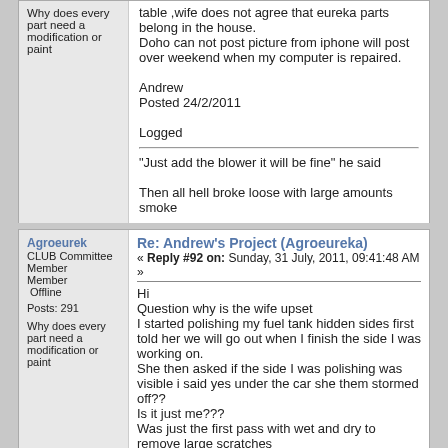table ,wife does not agree that eureka parts belong in the house.
Doho can not post picture from iphone will post over weekend when my computer is repaired.

Andrew
Posted 24/2/2011
Logged
"Just add the blower it will be fine" he said

Then all hell broke loose with large amounts smoke
Agroeureka
CLUB Committee Member
Member Offline
Posts: 291
Why does every part need a modification or paint
Re: Andrew's Project (Agroeureka)
« Reply #92 on: Sunday, 31 July, 2011, 09:41:48 AM »
Hi
Question why is the wife upset
I started polishing my fuel tank hidden sides first told her we will go out when I finish the side I was working on.
She then asked if the side I was polishing was visible i said yes under the car she them stormed off??
Is it just me???
Was just the first pass with wet and dry to remove large scratches